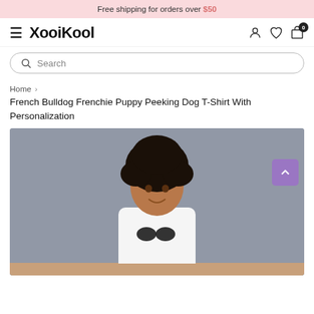Free shipping for orders over $50
[Figure (logo): XooiKool brand logo with hamburger menu and nav icons (user, wishlist, cart with 0 badge)]
Search
Home > French Bulldog Frenchie Puppy Peeking Dog T-Shirt With Personalization
French Bulldog Frenchie Puppy Peeking Dog T-Shirt With Personalization
[Figure (photo): Woman with curly hair smiling, wearing a white T-shirt with French Bulldog peeking design, grey background]